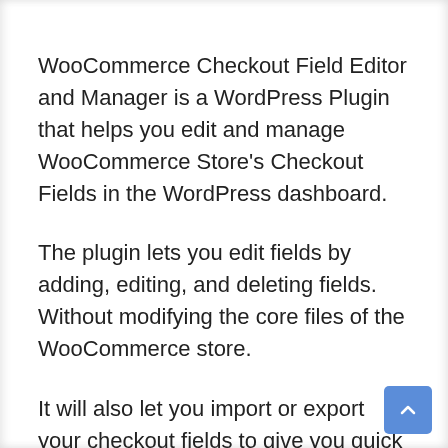WooCommerce Checkout Field Editor and Manager is a WordPress Plugin that helps you edit and manage WooCommerce Store's Checkout Fields in the WordPress dashboard.
The plugin lets you edit fields by adding, editing, and deleting fields. Without modifying the core files of the WooCommerce store.
It will also let you import or export your checkout fields to give you quick access to them from any location.
If you're a WooCommerce store owner and you want to simplify the checkout process for your